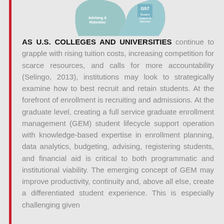[Figure (other): Partial view of a circular diagram showing sections labeled 'Advising & Retention' and 'Student Support & Services' with a light teal/blue color scheme]
AS U.S. COLLEGES AND UNIVERSITIES continue to grapple with rising tuition costs, increasing competition for scarce resources, and calls for more accountability (Selingo, 2013), institutions may look to strategically examine how to best recruit and retain students. At the forefront of enrollment is recruiting and admissions. At the graduate level, creating a full service graduate enrollment management (GEM) student lifecycle support operation with knowledge-based expertise in enrollment planning, data analytics, budgeting, advising, registering students, and financial aid is critical to both programmatic and institutional viability. The emerging concept of GEM may improve productivity, continuity and, above all else, create a differentiated student experience. This is especially challenging given